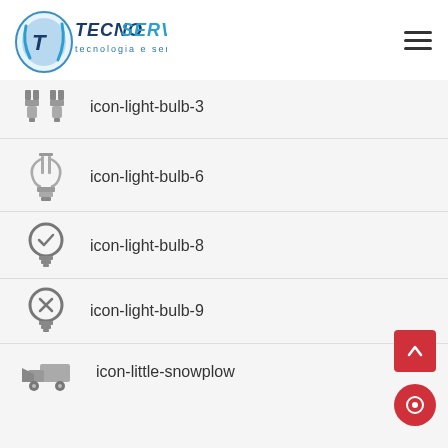[Figure (logo): TecnoServe logo with circular TS icon and text 'TECNOSERVE tecnologia e serviços, lda']
icon-light-bulb-3
icon-light-bulb-6
icon-light-bulb-8
icon-light-bulb-9
icon-little-snowplow